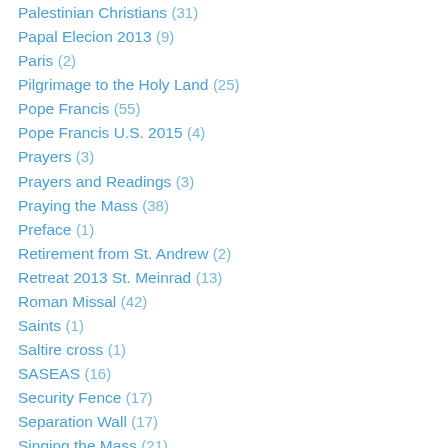Palestinian Christians (31)
Papal Elecion 2013 (9)
Paris (2)
Pilgrimage to the Holy Land (25)
Pope Francis (55)
Pope Francis U.S. 2015 (4)
Prayers (3)
Prayers and Readings (3)
Praying the Mass (38)
Preface (1)
Retirement from St. Andrew (2)
Retreat 2013 St. Meinrad (13)
Roman Missal (42)
Saints (1)
Saltire cross (1)
SASEAS (16)
Security Fence (17)
Separation Wall (17)
Singing the Mass (21)
St. Andrew Catholic Church (Milford) (11)